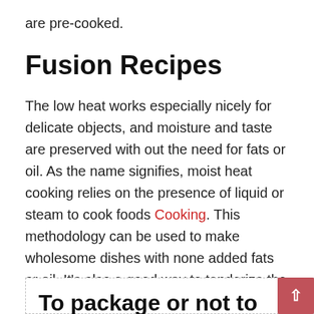are pre-cooked.
Fusion Recipes
The low heat works especially nicely for delicate objects, and moisture and taste are preserved with out the need for fats or oil. As the name signifies, moist heat cooking relies on the presence of liquid or steam to cook foods Cooking. This methodology can be used to make wholesome dishes with none added fats or oil. It's also a good way to tenderize the powerful fibers in certain cuts of meat, like beef chuck or brisket.
To package or not to